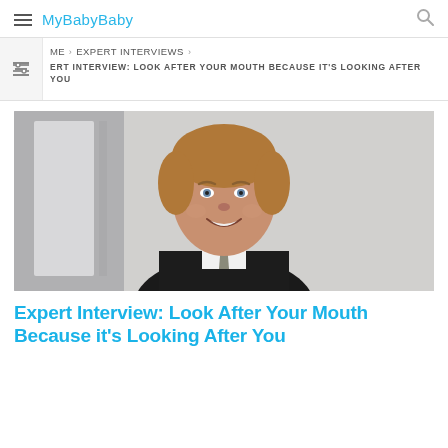MyBabyBaby
HOME > EXPERT INTERVIEWS > EXPERT INTERVIEW: LOOK AFTER YOUR MOUTH BECAUSE IT'S LOOKING AFTER YOU
[Figure (photo): Professional headshot of a smiling middle-aged man with light brown hair wearing a dark suit and tie, photographed against a light grey/white background]
Expert Interview: Look After Your Mouth Because it's Looking After You